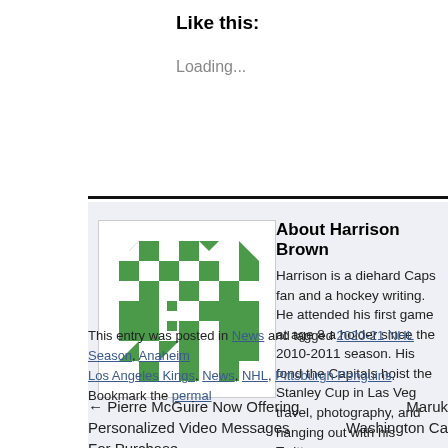Like this:
Loading...
About Harrison Brown
Harrison is a diehard Caps fan and a hockey writing. He attended his first game at age 8 a holder since the 2010-2011 season. His fond the Capitals hoist the Stanley Cup in Las Veg travel, photography, and hanging out with his Twitter @HarrisonB927077
View all posts by Harrison Brown →
This entry was posted in News and tagged 2020-21 NHL Season, Anaheim Los Angeles Kings, News, NHL, Pittsburgh Penguins. Bookmark the perma
← Pierre McGuire Now Offering Personalized Video Messages For Purchase
Maruk Washington Ca